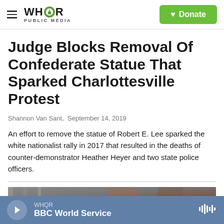WHQR PUBLIC MEDIA | Donate
Judge Blocks Removal Of Confederate Statue That Sparked Charlottesville Protest
Shannon Van Sant,  September 14, 2019
An effort to remove the statue of Robert E. Lee sparked the white nationalist rally in 2017 that resulted in the deaths of counter-demonstrator Heather Heyer and two state police officers.
[Figure (photo): Partial photo of a scene related to the Charlottesville protest or Confederate statue]
WHQR BBC World Service